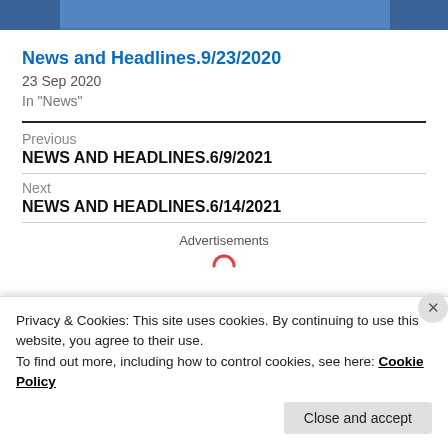[Figure (photo): Partial photo strip showing person in blue shirt at top of page]
News and Headlines.9/23/2020
23 Sep 2020
In "News"
Previous
NEWS AND HEADLINES.6/9/2021
Next
NEWS AND HEADLINES.6/14/2021
Advertisements
Privacy & Cookies: This site uses cookies. By continuing to use this website, you agree to their use.
To find out more, including how to control cookies, see here: Cookie Policy